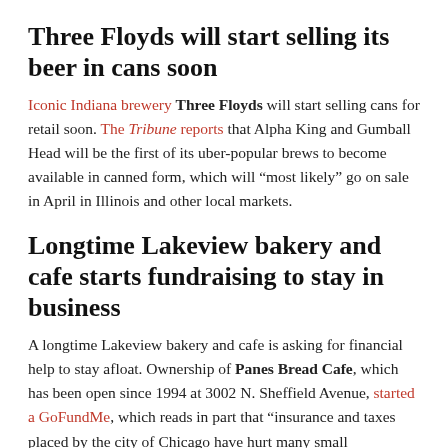Three Floyds will start selling its beer in cans soon
Iconic Indiana brewery Three Floyds will start selling cans for retail soon. The Tribune reports that Alpha King and Gumball Head will be the first of its uber-popular brews to become available in canned form, which will “most likely” go on sale in April in Illinois and other local markets.
Longtime Lakeview bakery and cafe starts fundraising to stay in business
A longtime Lakeview bakery and cafe is asking for financial help to stay afloat. Ownership of Panes Bread Cafe, which has been open since 1994 at 3002 N. Sheffield Avenue, started a GoFundMe, which reads in part that “insurance and taxes placed by the city of Chicago have hurt many small businesses, they are asking for any small or large donation in